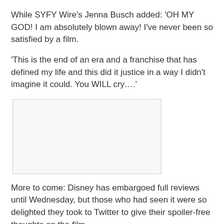While SYFY Wire's Jenna Busch added: 'OH MY GOD! I am absolutely blown away! I've never been so satisfied by a film.
'This is the end of an era and a franchise that has defined my life and this did it justice in a way I didn't imagine it could. You WILL cry….'
[Figure (photo): Blank/placeholder image box]
More to come: Disney has embargoed full reviews until Wednesday, but those who had seen it were so delighted they took to Twitter to give their spoiler-free thoughts on the film
[Figure (photo): Blank/placeholder image box (partial, bottom of page)]